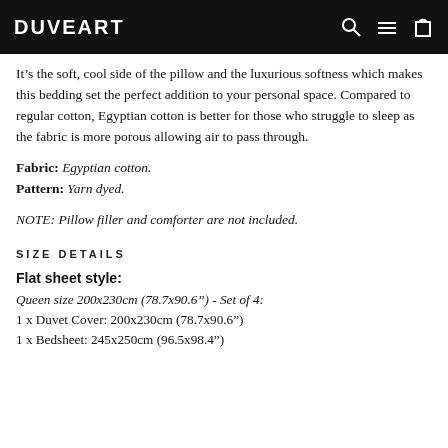DUVEART
It’s the soft, cool side of the pillow and the luxurious softness which makes this bedding set the perfect addition to your personal space. Compared to regular cotton, Egyptian cotton is better for those who struggle to sleep as the fabric is more porous allowing air to pass through.
Fabric: Egyptian cotton.
Pattern: Yarn dyed.
NOTE: Pillow filler and comforter are not included.
SIZE DETAILS
Flat sheet style:
Queen size 200x230cm (78.7x90.6") - Set of 4:
1 x Duvet Cover: 200x230cm (78.7x90.6")
1 x Bedsheet: 245x250cm (96.5x98.4")